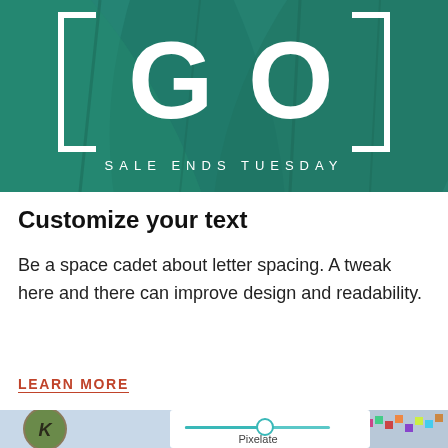[Figure (illustration): Tropical green leaf background with large white letters 'GO' in brackets, text 'SALE ENDS TUESDAY' in white spaced capital letters below]
Customize your text
Be a space cadet about letter spacing. A tweak here and there can improve design and readability.
LEARN MORE
[Figure (screenshot): Screenshot of a design tool interface showing a pixelate slider control with a circular profile icon (green/brown illustrated avatar) on the left, a teal slider bar with a circular handle, and the label 'Pixelate' below. Background shows a colorful pixelated cityscape image.]